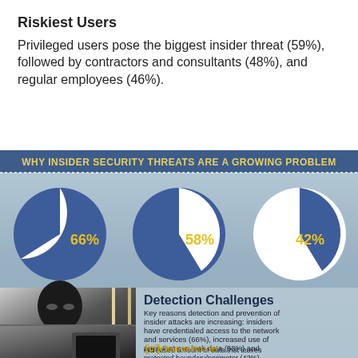Riskiest Users
Privileged users pose the biggest insider threat (59%), followed by contractors and consultants (48%), and regular employees (46%).
[Figure (infographic): Infographic titled 'WHY INSIDER SECURITY THREATS ARE A GROWING PROBLEM' featuring three pie charts showing 66%, 58%, and 42%, with a photo of a masked burglar and text about Detection Challenges.]
Detection Challenges
Key reasons detection and prevention of insider attacks are increasing: insiders have credentialed access to the network and services (66%), increased use of apps that can leak data (58%) and increased amount of data that leaves protected boundary/perimeter (42%).
[ci] channelinsider